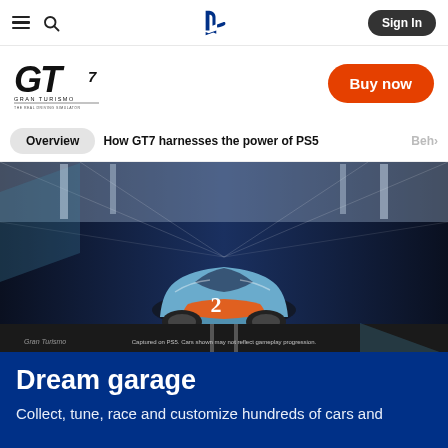≡  🔍  [PlayStation logo]  Sign In
[Figure (logo): Gran Turismo 7 logo]
Buy now
Overview  How GT7 harnesses the power of PS5  Beh›
[Figure (photo): Gran Turismo 7 hero image showing a Gulf-liveried Porsche 917 race car front-on in a tunnel/pit lane. Caption: Captured on PS5. Cars shown may not reflect gameplay progression.]
Captured on PS5. Cars shown may not reflect gameplay progression.
Dream garage
Collect, tune, race and customize hundreds of cars and